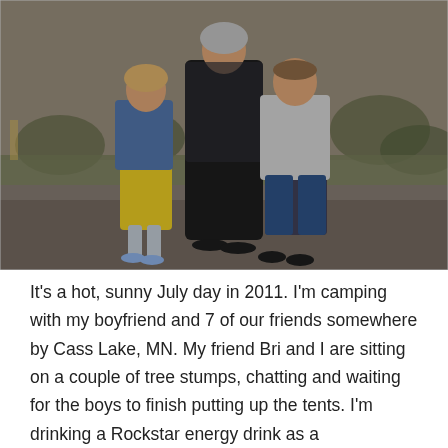[Figure (photo): Outdoor photo of three people — an adult in a black dress with a patterned vest/jacket and two children (a girl in yellow dress with denim jacket on the left, a boy in gray jacket and jeans on the right) — standing together on a paved surface, likely a parking lot or road, with trees and grass in the background.]
It's a hot, sunny July day in 2011. I'm camping with my boyfriend and 7 of our friends somewhere by Cass Lake, MN. My friend Bri and I are sitting on a couple of tree stumps, chatting and waiting for the boys to finish putting up the tents. I'm drinking a Rockstar energy drink as a